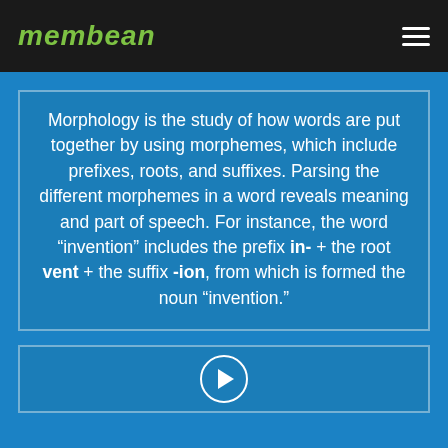membean
Morphology is the study of how words are put together by using morphemes, which include prefixes, roots, and suffixes. Parsing the different morphemes in a word reveals meaning and part of speech. For instance, the word “invention” includes the prefix in- + the root vent + the suffix -ion, from which is formed the noun “invention.”
[Figure (other): Video play button inside a bordered box]